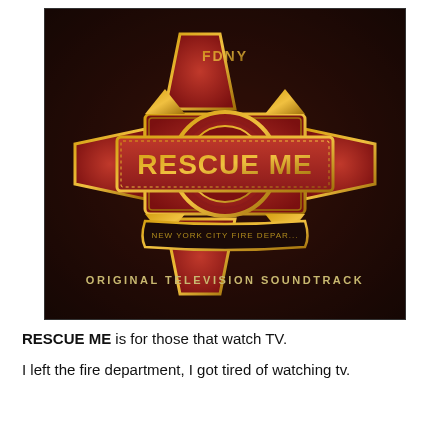[Figure (illustration): Album cover for 'Rescue Me' Original Television Soundtrack. Dark reddish-brown textured background. A large Maltese cross badge in red and gold, with 'FDNY' at the top. A red banner across the middle reads 'RESCUE ME' in large gold letters with a dotted border. Below the cross is a gold ribbon banner reading 'NEW YORK CITY FIRE DEPAR[TMENT]'. Below the main emblem: 'ORIGINAL TELEVISION SOUNDTRACK' in small gold/gray text.]
RESCUE ME is for those that watch TV.
I left the fire department, I got tired of watching tv.